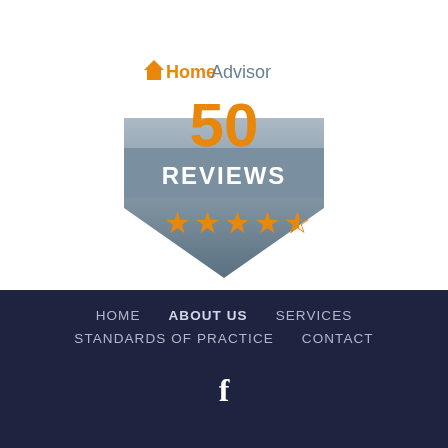[Figure (logo): HomeAdvisor badge showing '50 REVIEWS' with 4.5 orange stars on a shield/badge shape with gray and dark blue gradient background. The HomeAdvisor logo appears at the top with orange and gray text. The number 50 is large in orange, REVIEWS in white on a gray banner, and 4.5 orange stars below.]
HOME   ABOUT US   SERVICES   STANDARDS OF PRACTICE   CONTACT   [Facebook icon]